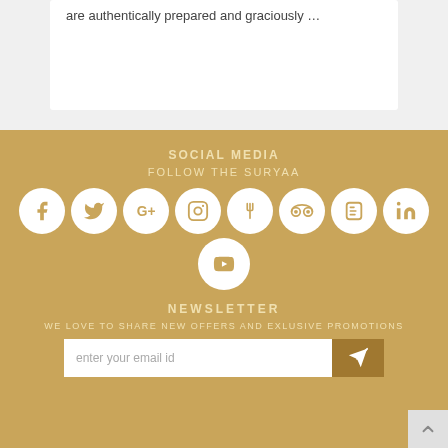are authentically prepared and graciously …
SOCIAL MEDIA
FOLLOW THE SURYAA
[Figure (infographic): Row of social media icon circles: Facebook, Twitter, Google+, Instagram, Zomato/fork, TripAdvisor, Blogger, LinkedIn, and YouTube]
NEWSLETTER
WE LOVE TO SHARE NEW OFFERS AND EXLUSIVE PROMOTIONS
enter your email id